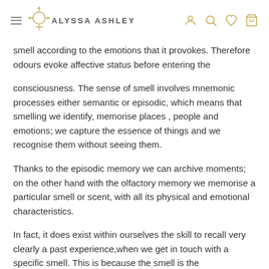ALYSSA ASHLEY
smell according to the emotions that it provokes. Therefore odours evoke affective status before entering the
consciousness. The sense of smell involves mnemonic processes either semantic or episodic, which means that smelling we identify, memorise places , people and emotions; we capture the essence of things and we recognise them without seeing them.
Thanks to the episodic memory we can archive moments; on the other hand with the olfactory memory we memorise a particular smell or scent, with all its physical and emotional characteristics.
In fact, it does exist within ourselves the skill to recall very clearly a past experience,when we get in touch with a specific smell. This is because the smell is the